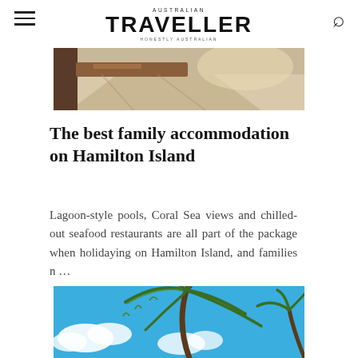AUSTRALIAN TRAVELLER — HONESTLY AUSTRALIAN
[Figure (photo): Interior photo showing a room with warm light, a wooden table/furniture piece casting shadows on a light floor]
The best family accommodation on Hamilton Island
Lagoon-style pools, Coral Sea views and chilled-out seafood restaurants are all part of the package when holidaying on Hamilton Island, and families n...
[Figure (photo): Tropical palm tree photographed from below against a bright blue sky with white clouds; another palm visible at the right edge]